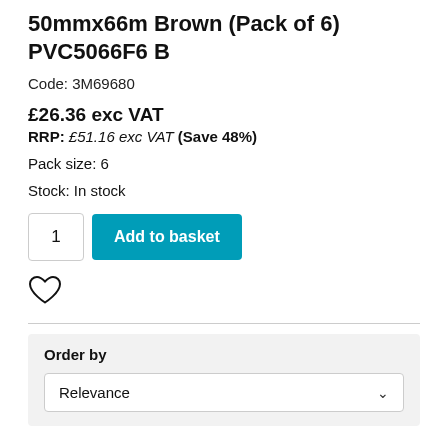50mmx66m Brown (Pack of 6) PVC5066F6 B
Code: 3M69680
£26.36 exc VAT
RRP: £51.16 exc VAT (Save 48%)
Pack size: 6
Stock: In stock
[Figure (other): Quantity input box showing '1' and a teal 'Add to basket' button]
[Figure (other): Heart/wishlist icon (outline heart shape)]
Order by
Relevance